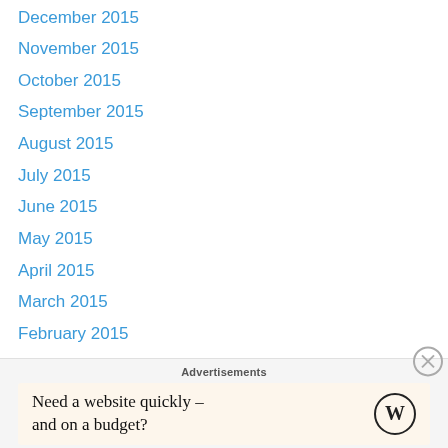December 2015
November 2015
October 2015
September 2015
August 2015
July 2015
June 2015
May 2015
April 2015
March 2015
February 2015
January 2015
December 2014
November 2014
October 2014
September 2014
Advertisements
Need a website quickly – and on a budget?